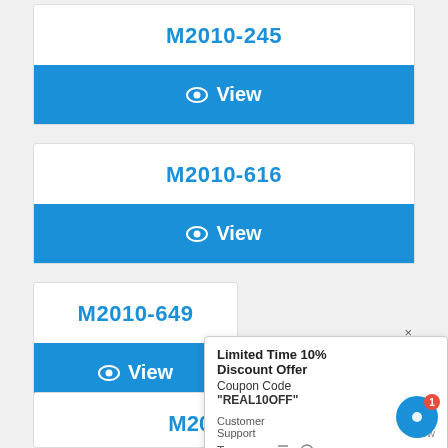M2010-245
[Figure (screenshot): Blue View button with eye icon]
M2010-616
[Figure (screenshot): Blue View button with eye icon]
M2010-649
[Figure (screenshot): Blue View button with eye icon, partially overlaid by popup]
Limited Time 10% Discount Offer Coupon Code "REAL10OFF"
Customer Support  just now  Type
M2010-665